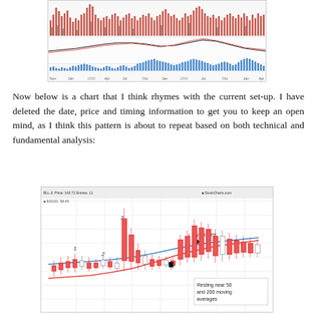[Figure (continuous-plot): Stock technical analysis chart showing candlestick/bar chart with volume bars (red/green) at top, two moving average lines (black and red/pink) in middle section, and blue bar histogram at bottom. Time axis spans from approximately Nov 2007 to Apr 2009.]
Now below is a chart that I think rhymes with the current set-up. I have deleted the date, price and timing information to get you to keep an open mind, as I think this pattern is about to repeat based on both technical and fundamental analysis:
[Figure (continuous-plot): Stock candlestick chart with moving averages. Shows price action with numbered peaks (1, 2, 3) and annotations: 'try a charm.' near a spike, and 'Resting near 50 and 200 moving averages' at bottom right. A red curved moving average line and a blue moving average line are visible. Date, price, and timing information have been deleted.]